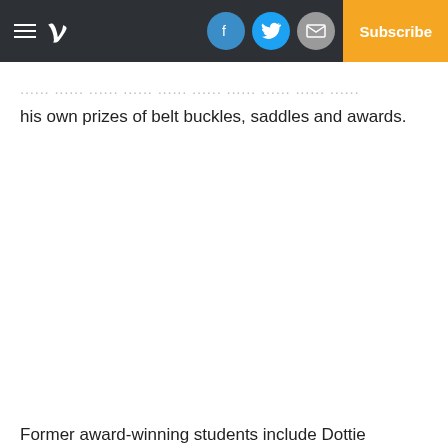P — Subscribe
... ... ... ... ... ... ... by ... ... ... of his own prizes of belt buckles, saddles and awards.
Former award-winning students include Dottie